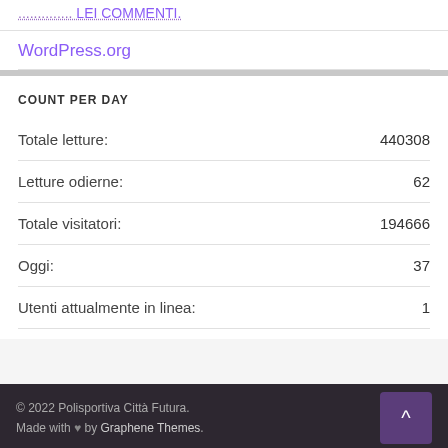WordPress.org
COUNT PER DAY
| Label | Value |
| --- | --- |
| Totale letture: | 440308 |
| Letture odierne: | 62 |
| Totale visitatori: | 194666 |
| Oggi: | 37 |
| Utenti attualmente in linea: | 1 |
© 2022 Polisportiva Città Futura. Made with ♥ by Graphene Themes.